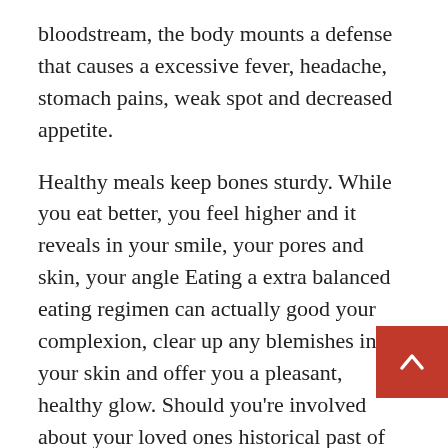bloodstream, the body mounts a defense that causes a excessive fever, headache, stomach pains, weak spot and decreased appetite.
Healthy meals keep bones sturdy. While you eat better, you feel higher and it reveals in your smile, your pores and skin, your angle Eating a extra balanced eating regimen can actually good your complexion, clear up any blemishes in your skin and offer you a pleasant, healthy glow. Should you're involved about your loved ones historical past of colon cancer, speak to your doctor about whether your family history suggests you will have a risk of these conditions.
She was on the peak of her career, but what her followers didn't know was that her mental well being had taken a turn for the worst. There isn't any